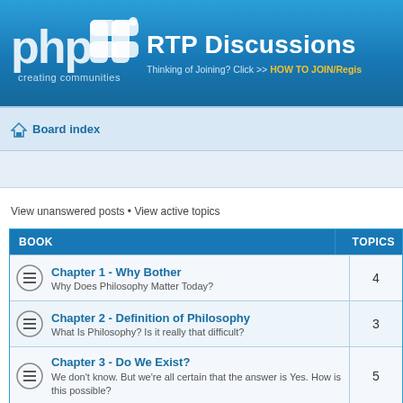[Figure (logo): phpBB logo with 'creating communities' tagline]
RTP Discussions
Thinking of Joining? Click >> HOW TO JOIN/Regis...
Board index
View unanswered posts • View active topics
| BOOK | TOPICS |
| --- | --- |
| Chapter 1 - Why Bother
Why Does Philosophy Matter Today? | 4 |
| Chapter 2 - Definition of Philosophy
What Is Philosophy? Is it really that difficult? | 3 |
| Chapter 3 - Do We Exist?
We don't know. But we're all certain that the answer is Yes. How is this possible? | 5 |
| Chapter 4 - Empiricism
Frightens most people, particularly when we start talking about Meaning, Truth and Verification. In fact, it's largely common sense | 2 |
| Chapter 5 - How Did We Get Here? | 3 |